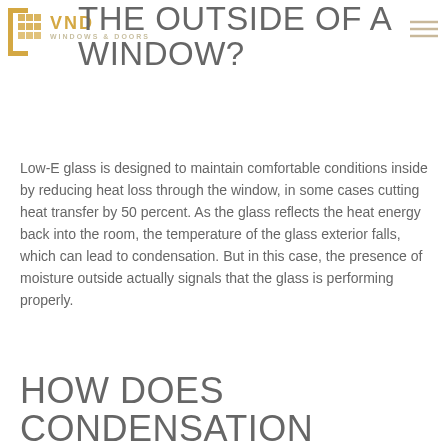VND WINDOWS & DOORS
THE OUTSIDE OF A WINDOW?
Low-E glass is designed to maintain comfortable conditions inside by reducing heat loss through the window, in some cases cutting heat transfer by 50 percent. As the glass reflects the heat energy back into the room, the temperature of the glass exterior falls, which can lead to condensation. But in this case, the presence of moisture outside actually signals that the glass is performing properly.
HOW DOES CONDENSATION